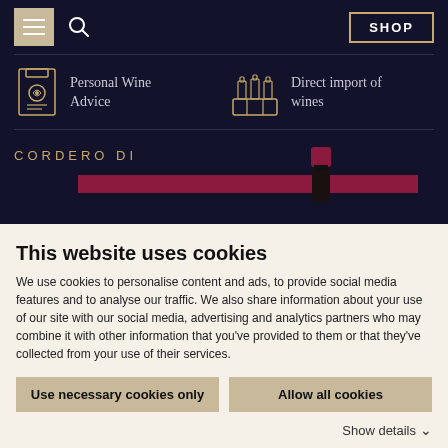Navigation header with menu, search, and SHOP button
Personal Wine Advice
Direct import of wines
CORDERO DI
This website uses cookies
We use cookies to personalise content and ads, to provide social media features and to analyse our traffic. We also share information about your use of our site with our social media, advertising and analytics partners who may combine it with other information that you've provided to them or that they've collected from your use of their services.
Use necessary cookies only
Allow all cookies
Show details